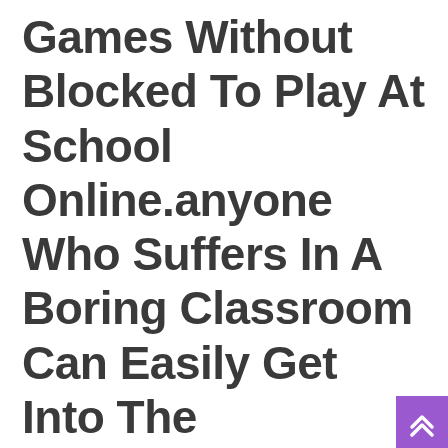Games Without Blocked To Play At School Online.anyone Who Suffers In A Boring Classroom Can Easily Get Into The Entertaining Fascinating World Of Unblocked Games 66 Ez.in The First Please Share This Free Game With Your
[Figure (other): Purple scroll-up button with double chevron icon in bottom-right corner]